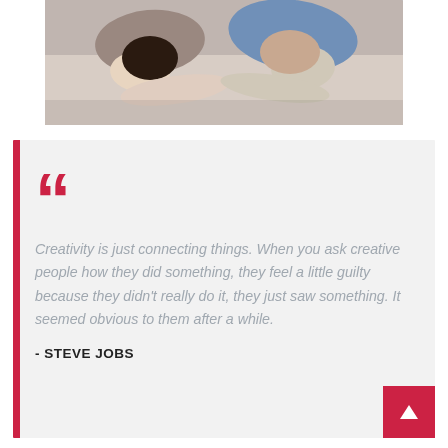[Figure (photo): Overhead view of two people sitting at a table, heads bowed down, with arms crossed on the table]
““
Creativity is just connecting things. When you ask creative people how they did something, they feel a little guilty because they didn’t really do it, they just saw something. It seemed obvious to them after a while.
- STEVE JOBS